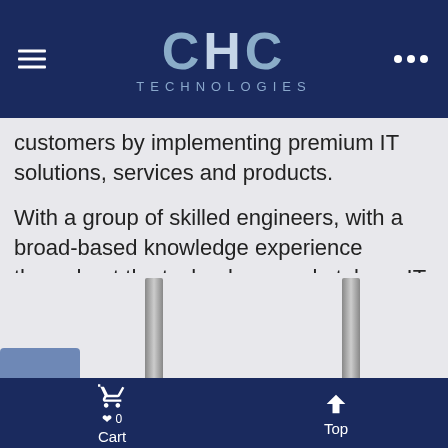CHC TECHNOLOGIES
customers by implementing premium IT solutions, services and products.
With a group of skilled engineers, with a broad-based knowledge experience throughout the technology marketplace. IT Support Services with the precise purpose of allowing its customers to concentrate on their own core business are proposed. Our mission is to become our customer’s outsourced “IT Department”, in order to optimize both time and efforts to overcome/resolve daily IT issues.
[Figure (photo): Bottom section showing partial card images with two vertical pillar/column elements in the foreground]
Cart   Top